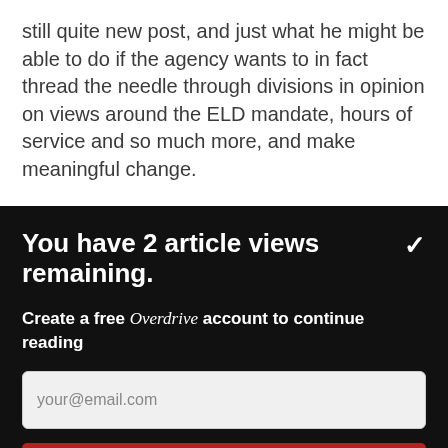still quite new post, and just what he might be able to do if the agency wants to in fact thread the needle through divisions in opinion on views around the ELD mandate, hours of service and so much more, and make meaningful change.
You have 2 article views remaining.
Create a free Overdrive account to continue reading
your@email.com
CONTINUE